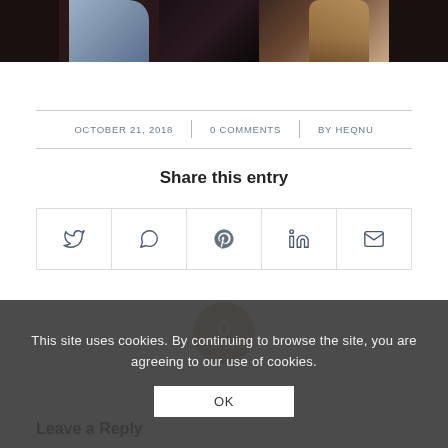[Figure (photo): Partial photo of people at a social gathering, cropped at top]
OCTOBER 21, 2018  |  0 COMMENTS  |  BY HEQNU
Share this entry
[Figure (infographic): Social sharing icons: Twitter, WhatsApp, Pinterest, LinkedIn, Email in bordered cells]
[Figure (infographic): Circle badge showing 0 REPLIES]
This site uses cookies. By continuing to browse the site, you are agreeing to our use of cookies.
Leave a Reply
OK